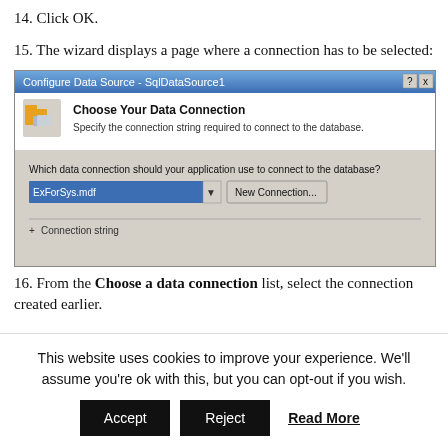14. Click OK.
15. The wizard displays a page where a connection has to be selected:
[Figure (screenshot): Configure Data Source - SqlDataSource1 dialog window showing 'Choose Your Data Connection' step. Includes a dropdown with 'ExForSys.mdf' selected and a 'New Connection...' button. Below is a collapsed 'Connection string' section.]
16. From the Choose a data connection list, select the connection created earlier.
This website uses cookies to improve your experience. We'll assume you're ok with this, but you can opt-out if you wish.